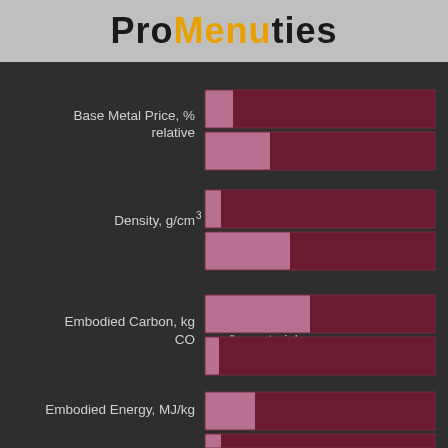Properties
[Figure (bar-chart): Properties]